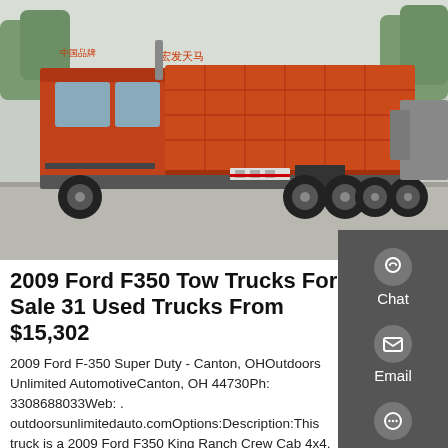[Figure (photo): Large orange dump truck (Chinese heavy truck) parked in a lot, side view, with red/orange cargo bed, photographed outdoors under overcast sky.]
2009 Ford F350 Tow Trucks For Sale 31 Used Trucks From $15,302
2009 Ford F-350 Super Duty - Canton, OHOutdoors Unlimited AutomotiveCanton, OH 44730Ph: 3308688033Web: . outdoorsunlimitedauto.comOptions:Description:This truck is a 2009 Ford F350 King Ranch Crew Cab 4x4. The truck also has a spray in bed liner, factory chrome step bars and a …